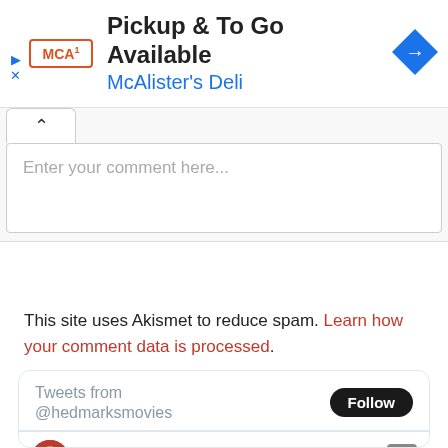[Figure (screenshot): McAlister's Deli advertisement banner with logo, 'Pickup & To Go Available' headline, and navigation arrow icon]
[Figure (screenshot): Comment input area with a tab/toggle and placeholder text 'Enter your comment here...']
This site uses Akismet to reduce spam. Learn how your comment data is processed.
[Figure (screenshot): Twitter widget showing 'Tweets from @hedmarksmovies' with a Follow button and a tweet from HEDMARK @hedmarksmovies 12h ago]